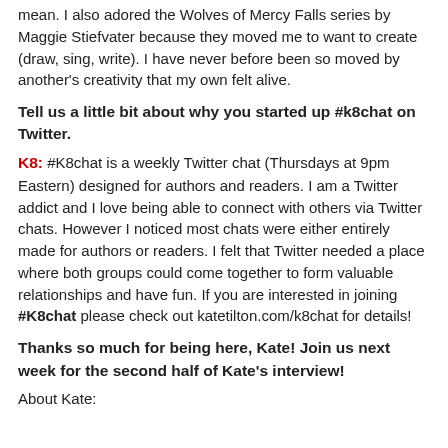mean. I also adored the Wolves of Mercy Falls series by Maggie Stiefvater because they moved me to want to create (draw, sing, write). I have never before been so moved by another's creativity that my own felt alive.
Tell us a little bit about why you started up #k8chat on Twitter.
K8: #K8chat is a weekly Twitter chat (Thursdays at 9pm Eastern) designed for authors and readers. I am a Twitter addict and I love being able to connect with others via Twitter chats. However I noticed most chats were either entirely made for authors or readers. I felt that Twitter needed a place where both groups could come together to form valuable relationships and have fun. If you are interested in joining #K8chat please check out katetilton.com/k8chat for details!
Thanks so much for being here, Kate! Join us next week for the second half of Kate's interview!
About Kate: